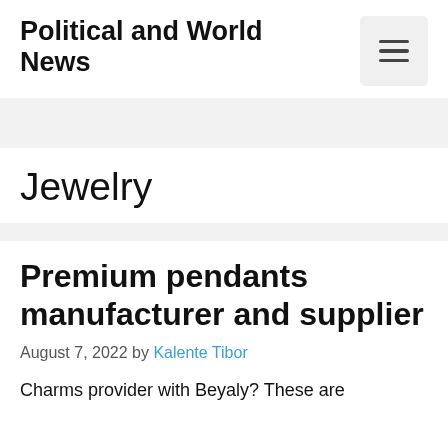Political and World News
Jewelry
Premium pendants manufacturer and supplier
August 7, 2022 by Kalente Tibor
Charms provider with Beyaly? These are